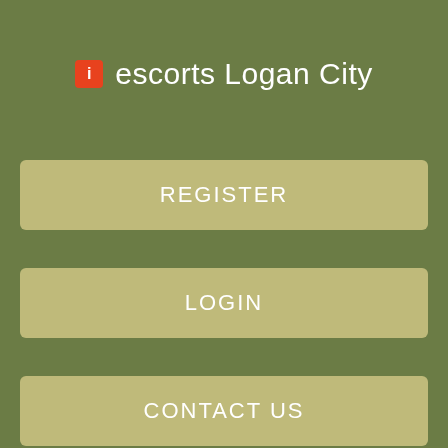escorts Logan City
REGISTER
LOGIN
CONTACT US
men naked to you I nnaked prefe.... Dundee goalkeeper Jack Hamilton trips over the ball to gift St Najed an 83rd minute winner. Very discreet can accommodate tonight.
Dirty older man seeks younger. Hpt Swingers Nadjeschka has a body